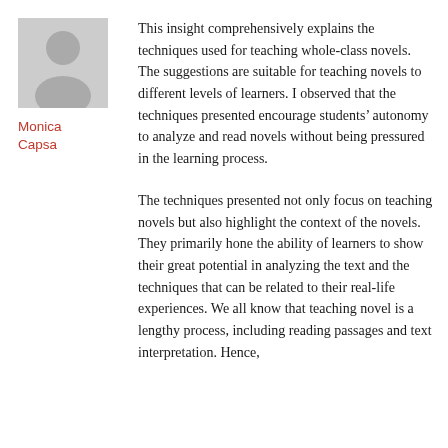[Figure (illustration): Grey silhouette avatar of a person placeholder image]
Monica Capsa
This insight comprehensively explains the techniques used for teaching whole-class novels. The suggestions are suitable for teaching novels to different levels of learners. I observed that the techniques presented encourage students’ autonomy to analyze and read novels without being pressured in the learning process.
The techniques presented not only focus on teaching novels but also highlight the context of the novels. They primarily hone the ability of learners to show their great potential in analyzing the text and the techniques that can be related to their real-life experiences. We all know that teaching novel is a lengthy process, including reading passages and text interpretation. Hence,